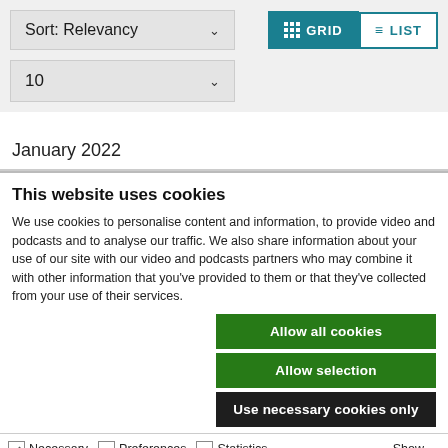[Figure (screenshot): Sort dropdown showing 'Sort: Relevancy' with chevron, and GRID/LIST view toggle buttons (GRID selected in teal, LIST in white outline)]
[Figure (screenshot): Number dropdown showing '10' with chevron]
January 2022
This website uses cookies
We use cookies to personalise content and information, to provide video and podcasts and to analyse our traffic. We also share information about your use of our site with our video and podcasts partners who may combine it with other information that you've provided to them or that they've collected from your use of their services.
Allow all cookies
Allow selection
Use necessary cookies only
Necessary   Preferences   Statistics   Marketing   Show details